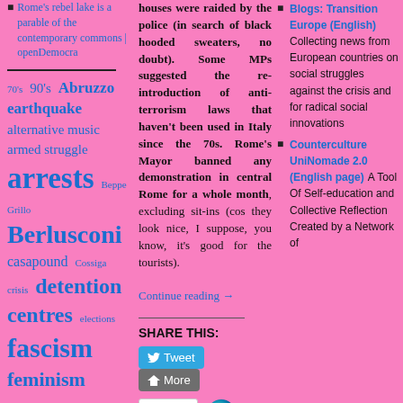Rome's rebel lake is a parable of the contemporary commons | openDemocra
70's 90's Abruzzo earthquake alternative music armed struggle arrests Beppe Grillo Berlusconi casapound Cossiga crisis detention centres elections fascism feminism
houses were raided by the police (in search of black hooded sweaters, no doubt). Some MPs suggested the re-introduction of anti-terrorism laws that haven't been used in Italy since the 70s. Rome's Mayor banned any demonstration in central Rome for a whole month, excluding sit-ins (cos they look nice, I suppose, you know, it's good for the tourists). Continue reading →
SHARE THIS:
[Figure (screenshot): Tweet and More share buttons]
[Figure (screenshot): Like button and blogger avatar]
One blogger likes this.
Blogs: Transition Europe (English) Collecting news from European countries on social struggles against the crisis and for radical social innovations
Counterculture UniNomade 2.0 (English page) A Tool Of Self-education and Collective Reflection Created by a Network of